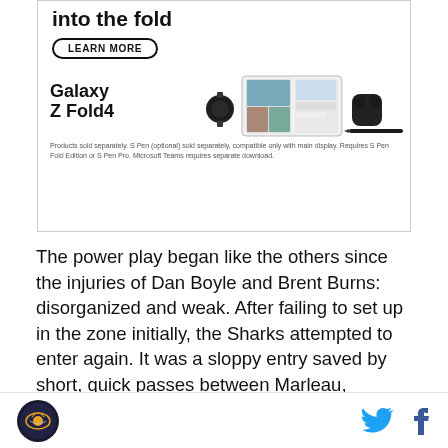[Figure (illustration): Samsung Galaxy Z Fold4 advertisement showing 'into the fold' tagline, LEARN MORE button, Galaxy Z Fold4 branding, and product images of smartwatch, foldable phone, earbuds, and S Pen. Disclaimer text: Products sold separately. S Pen (optional) sold separately, compatible only with main display. Requires S Pen Fold Edition or S Pen Pro. Microsoft Teams requires separate download.]
The power play began like the others since the injuries of Dan Boyle and Brent Burns: disorganized and weak. After failing to set up in the zone initially, the Sharks attempted to enter again. It was a sloppy entry saved by short, quick passes between Marleau, Couture, and Thornton. After establishing themselves in the zone, Marleau passed across the ice to Joe Thornton, who
SB Nation logo | Twitter icon | Facebook icon